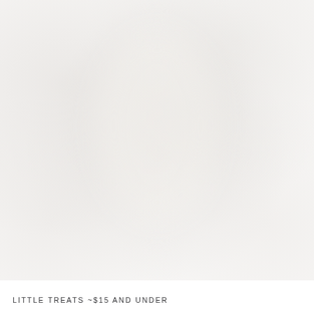[Figure (photo): Faint, nearly white photograph background showing soft watercolor-like blurred imagery, very light and washed out]
LITTLE TREATS ~$15 AND UNDER